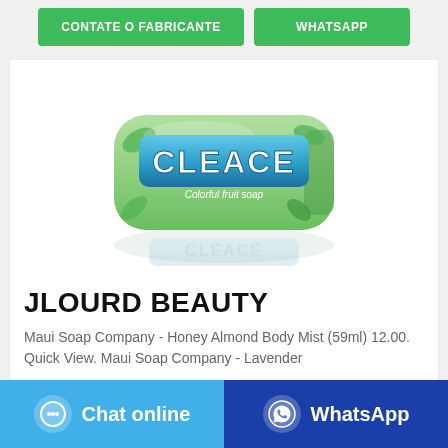CONTATE O FABRICANTE
WHATSAPP
[Figure (photo): Product photo of Cleace Colorful Fruit Soap bar in green and white packaging on white background]
JLOURD BEAUTY
Maui Soap Company - Honey Almond Body Mist (59ml) 12.00. Quick View. Maui Soap Company - Lavender
Chat online
WhatsApp